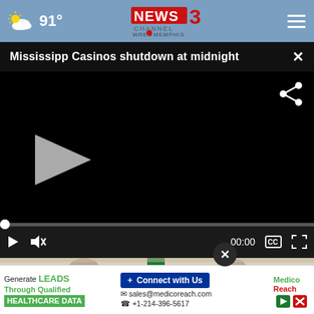[Figure (screenshot): News Channel 3 WREG Memphis header bar with weather showing partly cloudy and 91 degrees, centered logo, and hamburger menu icon]
Mississipp Casinos shutdown at midnight
[Figure (screenshot): Video player with black background, share icon top right, gray play button in center-left, scrubber bar at bottom showing 00:00, controls including play, mute, captions, and fullscreen buttons]
[Figure (photo): Photo strip showing people at a press conference or meeting with a green flag/banner visible]
[Figure (screenshot): Advertisement banner: Generate LEADS Through Qualified HEALTHCARE DATA | Connect with Us | sales@medicoreach.com | +1-214-396-5617 | MedicoReach logo]